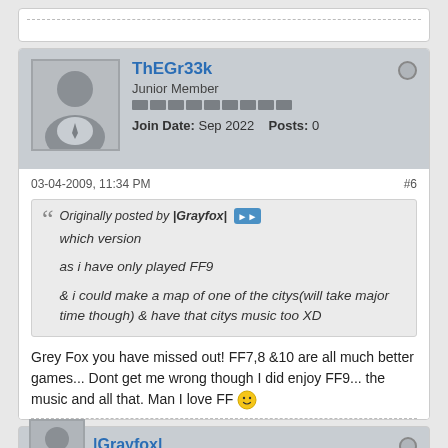[Figure (screenshot): Forum post stub top - dotted border divider]
ThEGr33k
Junior Member
Join Date: Sep 2022  Posts: 0
03-04-2009, 11:34 PM  #6
Originally posted by |Grayfox|
which version
as i have only played FF9
& i could make a map of one of the citys(will take major time though) & have that citys music too XD
Grey Fox you have missed out! FF7,8 &10 are all much better games... Dont get me wrong though I did enjoy FF9... the music and all that. Man I love FF 🙂
|Grayfox|